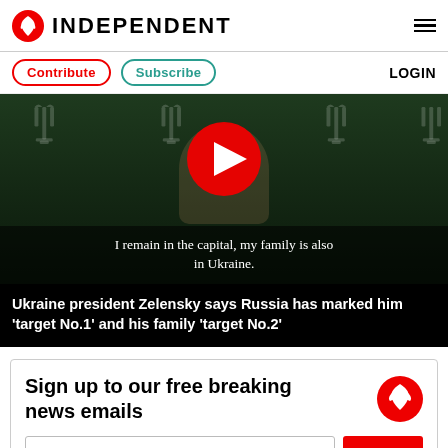INDEPENDENT
Contribute  Subscribe  LOGIN
[Figure (screenshot): Video thumbnail showing Ukraine president Zelensky at a press conference with Ukrainian trident logos in the background, overlaid with a large red YouTube-style play button and subtitle text: 'I remain in the capital, my family is also in Ukraine.']
Ukraine president Zelensky says Russia has marked him 'target No.1' and his family 'target No.2'
Sign up to our free breaking news emails